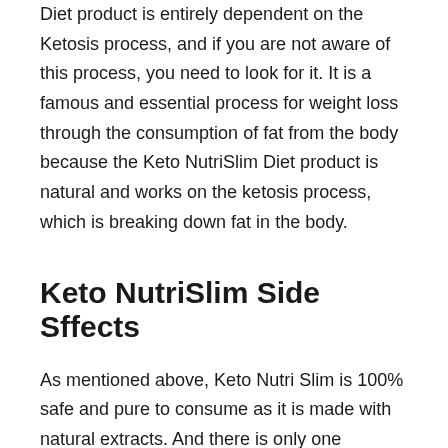Diet product is entirely dependent on the Ketosis process, and if you are not aware of this process, you need to look for it. It is a famous and essential process for weight loss through the consumption of fat from the body because the Keto NutriSlim Diet product is natural and works on the ketosis process, which is breaking down fat in the body.
Keto NutriSlim Side Sffects
As mentioned above, Keto Nutri Slim is 100% safe and pure to consume as it is made with natural extracts. And there is only one ingredient in this product: BHB, which has no side effects on the body. So don't think about the side effects as Keto